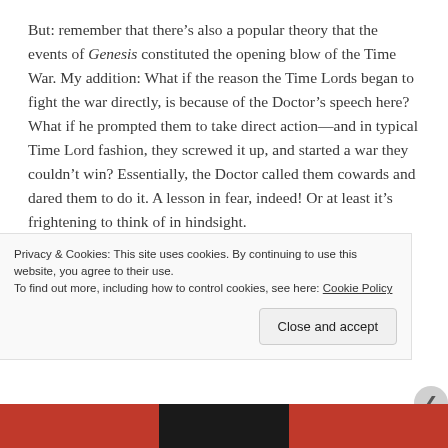But: remember that there's also a popular theory that the events of Genesis constituted the opening blow of the Time War. My addition: What if the reason the Time Lords began to fight the war directly, is because of the Doctor's speech here? What if he prompted them to take direct action—and in typical Time Lord fashion, they screwed it up, and started a war they couldn't win? Essentially, the Doctor called them cowards and dared them to do it. A lesson in fear, indeed! Or at least it's frightening to think of in hindsight.
Privacy & Cookies: This site uses cookies. By continuing to use this website, you agree to their use. To find out more, including how to control cookies, see here: Cookie Policy
Close and accept